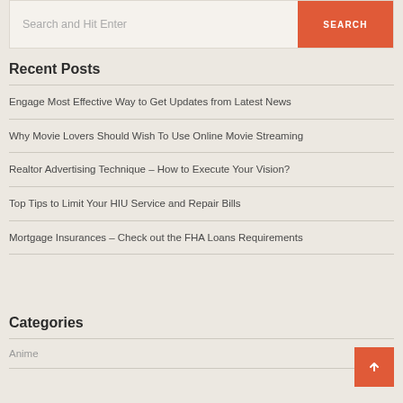Search and Hit Enter
Recent Posts
Engage Most Effective Way to Get Updates from Latest News
Why Movie Lovers Should Wish To Use Online Movie Streaming
Realtor Advertising Technique – How to Execute Your Vision?
Top Tips to Limit Your HIU Service and Repair Bills
Mortgage Insurances – Check out the FHA Loans Requirements
Categories
Anime